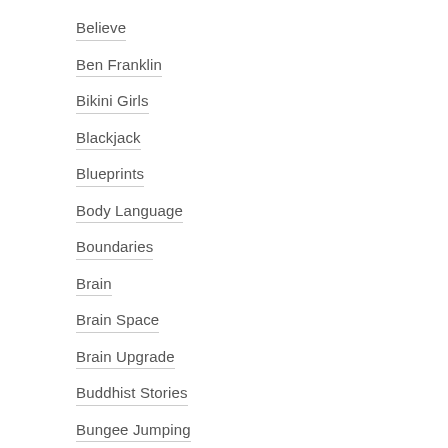Believe
Ben Franklin
Bikini Girls
Blackjack
Blueprints
Body Language
Boundaries
Brain
Brain Space
Brain Upgrade
Buddhist Stories
Bungee Jumping
Burning Desire
Business